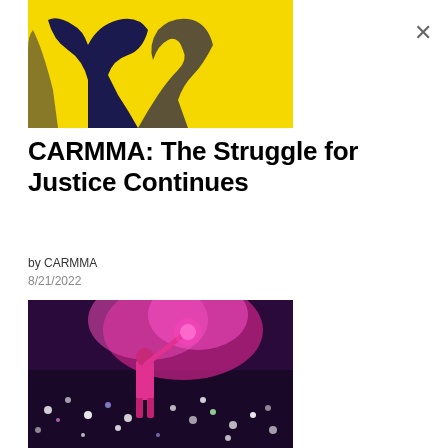[Figure (photo): Yellow background image with dark blue silhouette figure, partially cropped at top]
CARMMA: The Struggle for Justice Continues
by CARMMA
8/21/2022
[Figure (photo): Protest or rally photo showing person in pink shirt holding a pink smoke flare above a crowd with lights at night]